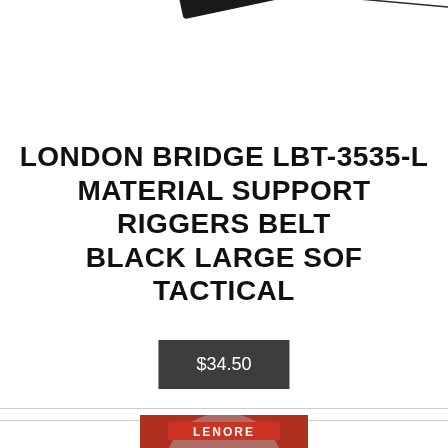[Figure (photo): Partial top view of a black tactical riggers belt with buckle clasp, cropped at the top of the page]
LONDON BRIDGE LBT-3535-L MATERIAL SUPPORT RIGGERS BELT BLACK LARGE SOF TACTICAL
$34.50
[Figure (photo): Bottom portion of a red book cover showing a cartoon character labeled LENORE - a pale girl with large eyes and dark hair - gothic illustrated style]